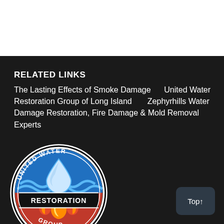RELATED LINKS
The Lasting Effects of Smoke Damage    United Water Restoration Group of Long Island      Zephyrhills Water Damage Restoration, Fire Damage & Mold Removal Experts
[Figure (logo): United Water Restoration Group circular logo with water droplet and waves on top half (blue) and fire flames on bottom half (red/orange), black border with white text reading UNITED WATER on top arc, RESTORATION in center band, GROUP on bottom arc]
Top↑